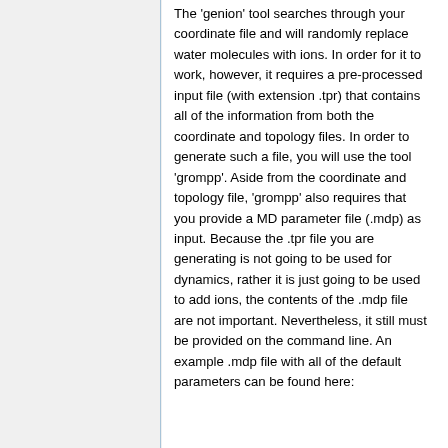The 'genion' tool searches through your coordinate file and will randomly replace water molecules with ions. In order for it to work, however, it requires a pre-processed input file (with extension .tpr) that contains all of the information from both the coordinate and topology files. In order to generate such a file, you will use the tool 'grompp'. Aside from the coordinate and topology file, 'grompp' also requires that you provide a MD parameter file (.mdp) as input. Because the .tpr file you are generating is not going to be used for dynamics, rather it is just going to be used to add ions, the contents of the .mdp file are not important. Nevertheless, it still must be provided on the command line. An example .mdp file with all of the default parameters can be found here: